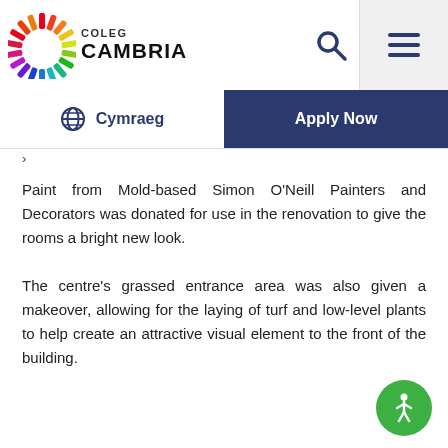[Figure (logo): Coleg Cambria logo with colourful starburst and text COLEG CAMBRIA]
[Figure (illustration): Search icon (magnifying glass) in dark blue]
[Figure (illustration): Hamburger menu icon (three lines) in dark blue on grey background]
Cymraeg
Apply Now
Paint from Mold-based Simon O'Neill Painters and Decorators was donated for use in the renovation to give the rooms a bright new look.
The centre's grassed entrance area was also given a makeover, allowing for the laying of turf and low-level plants to help create an attractive visual element to the front of the building.
[Figure (illustration): Green circular accessibility icon button in bottom right corner]